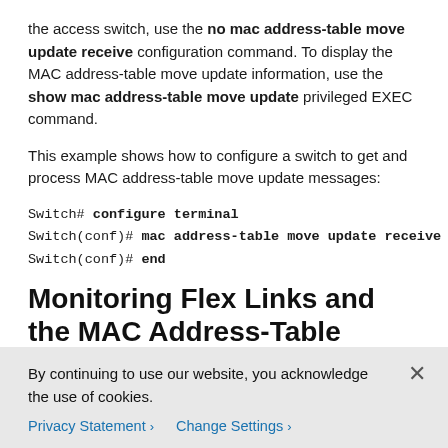the access switch, use the no mac address-table move update receive configuration command. To display the MAC address-table move update information, use the show mac address-table move update privileged EXEC command.
This example shows how to configure a switch to get and process MAC address-table move update messages:
Switch# configure terminal
Switch(conf)# mac address-table move update receive
Switch(conf)# end
Monitoring Flex Links and the MAC Address-Table Move Update
Table 18-1 shows the privileged EXEC commands for monitoring the Flex Links configuration and the MAC
By continuing to use our website, you acknowledge the use of cookies.
Privacy Statement >   Change Settings >